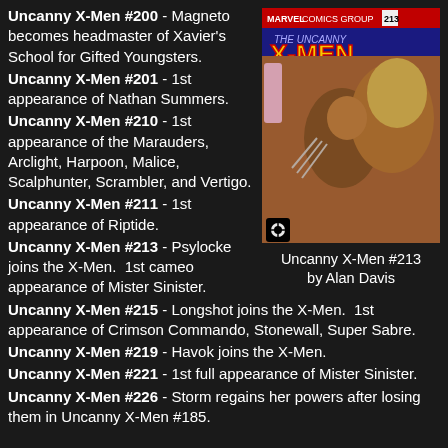Uncanny X-Men #200 - Magneto becomes headmaster of Xavier's School for Gifted Youngsters.
Uncanny X-Men #201 - 1st appearance of Nathan Summers.
Uncanny X-Men #210 - 1st appearance of the Marauders, Arclight, Harpoon, Malice, Scalphunter, Scrambler, and Vertigo.
Uncanny X-Men #211 - 1st appearance of Riptide.
Uncanny X-Men #213 - Psylocke joins the X-Men.  1st cameo appearance of Mister Sinister.
Uncanny X-Men #215 - Longshot joins the X-Men.  1st appearance of Crimson Commando, Stonewall, Super Sabre.
Uncanny X-Men #219 - Havok joins the X-Men.
Uncanny X-Men #221 - 1st full appearance of Mister Sinister.
Uncanny X-Men #226 - Storm regains her powers after losing them in Uncanny X-Men #185.
[Figure (illustration): Comic book cover of Uncanny X-Men #213 by Alan Davis showing Wolverine and Sabretooth fighting]
Uncanny X-Men #213
by Alan Davis